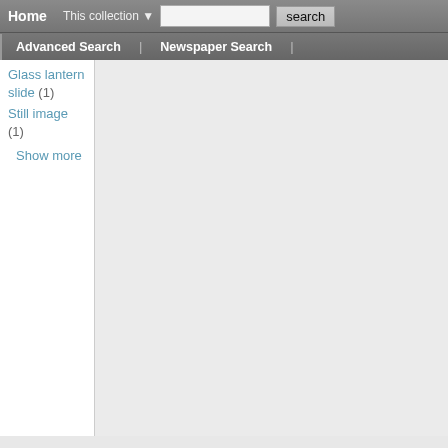Home  This collection ▼  [search input]  search
Advanced Search | Newspaper Search
Glass lantern slide (1)
Still image (1)
Show more